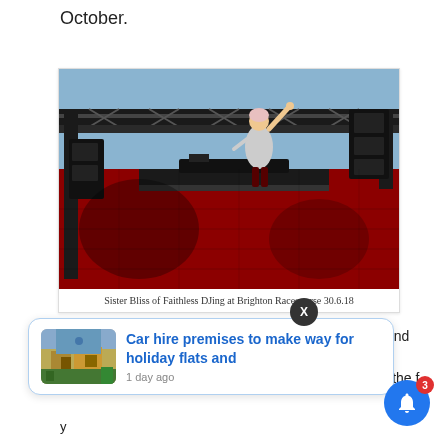October.
[Figure (photo): A DJ (Sister Bliss of Faithless) performing on stage with raised arm, red LED backdrop and metal rigging structure at Brighton Racecourse 30.6.18]
Sister Bliss of Faithless DJing at Brighton Racecourse 30.6.18
[Figure (other): Notification card overlay: 'Car hire premises to make way for holiday flats and' with thumbnail of a building and '1 day ago' timestamp; close button X; bell notification icon with badge 3]
hour and then eat in the f…